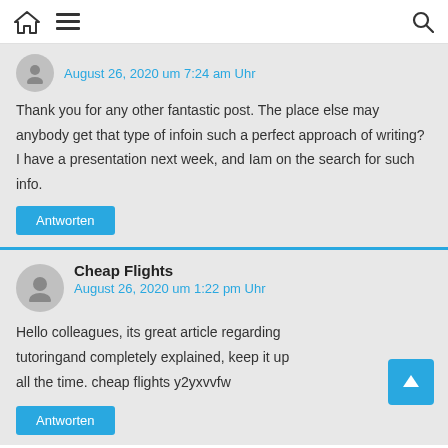August 26, 2020 um 7:24 am Uhr
Thank you for any other fantastic post. The place else may anybody get that type of infoin such a perfect approach of writing? I have a presentation next week, and Iam on the search for such info.
Antworten
Cheap Flights
August 26, 2020 um 1:22 pm Uhr
Hello colleagues, its great article regarding tutoringand completely explained, keep it up all the time. cheap flights y2yxvvfw
Antworten